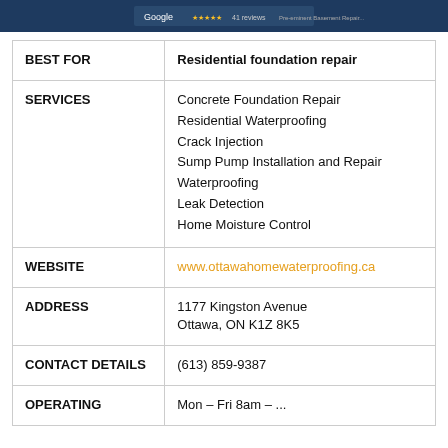[Figure (screenshot): Dark blue banner with a Google reviews screenshot showing star rating and review count]
|  |  |
| --- | --- |
| BEST FOR | Residential foundation repair |
| SERVICES | Concrete Foundation Repair
Residential Waterproofing
Crack Injection
Sump Pump Installation and Repair
Waterproofing
Leak Detection
Home Moisture Control |
| WEBSITE | www.ottawahomewaterproofing.ca |
| ADDRESS | 1177 Kingston Avenue
Ottawa, ON K1Z 8K5 |
| CONTACT DETAILS | (613) 859-9387 |
| OPERATING | Mon–Fri 8am–... |